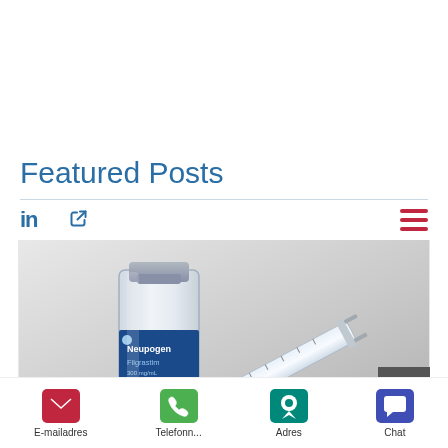[Figure (screenshot): Navigation bar with LinkedIn icon, chain-link icon on the left, and hamburger menu (3 red horizontal lines) on the right. A thin horizontal divider below.]
Featured Posts
[Figure (photo): Photo of a Neupogen (Filgrastim) 300 mg/mL vial and a syringe with blue cap on a light gray background]
[Figure (other): Gray square scroll-to-top button with upward chevron arrow]
[Figure (infographic): Bottom navigation bar with four icons: pink/red email envelope (E-mailadres), green phone (Telefonn...), teal map pin (Adres), blue chat bubble (Chat)]